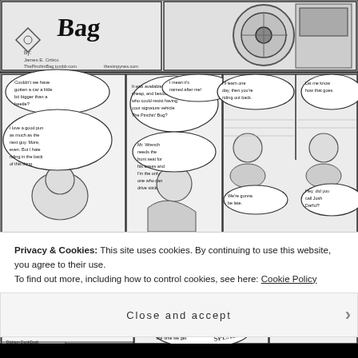[Figure (illustration): Comic strip panels showing characters in a car and at a dock. Top strip header shows 'Pinchin Bug' title with credit 'By: James E. Critico'. Multiple panels with speech bubbles: 'Couldn't we have gotten a car a little bit bigger than a beetle?', 'It was available, cheap, and besides, who could resist having your signature vehicle The Pinchin Bug?', 'I mean it's named after me!', 'I'll learn one day, then you're riding out back.', 'Let me know how that goes.', 'I love a good pun as much as the next guy. More, even. But I hate riding in the back of this thing.', 'Mr. Wrench needs the front seat for his knees and I'm the only one who can drive stick.', 'We're gonna be late.', 'Hey, did you call Josh Darful?', Second strip: 'I haven't heard back from him yet.', 'I'm sure he'll call soon.', 'It's already been ten minutes.', 'Doctor Tik-Tok will be gone by the time we get to the docks!', 'Relax, he always takes his time.', 'Besides, Swog might get there before us. He moves pretty quickly in the sewers.', 'Gross.', 'Either way, we'll get to the docks and get Dickton DockDock']
Privacy & Cookies: This site uses cookies. By continuing to use this website, you agree to their use.
To find out more, including how to control cookies, see here: Cookie Policy
Close and accept